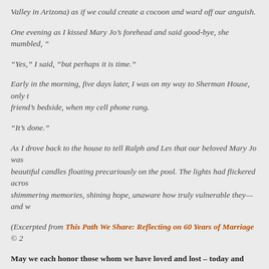Valley in Arizona) as if we could create a cocoon and ward off our anguish.
One evening as I kissed Mary Jo’s forehead and said good-bye, she mumbled, “
“Yes,” I said, “but perhaps it is time.”
Early in the morning, five days later, I was on my way to Sherman House, only t… friend’s bedside, when my cell phone rang.
“It’s done.”
As I drove back to the house to tell Ralph and Les that our beloved Mary Jo was… beautiful candles floating precariously on the pool. The lights had flickered acros… shimmering memories, shining hope, unaware how truly vulnerable they—and w…
(Excerpted from This Path We Share: Reflecting on 60 Years of Marriage © 2…
May we each honor those whom we have loved and lost – today and every…